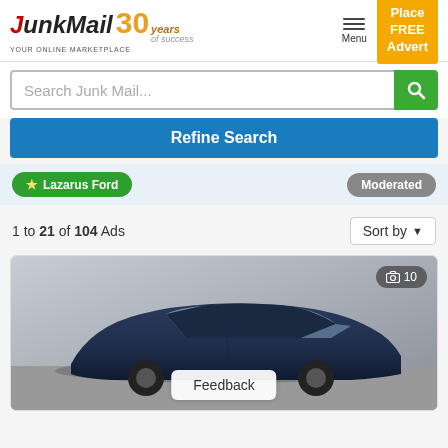[Figure (logo): JunkMail 30 years logo with tagline YOUR ONLINE MARKETPLACE]
Place FREE Advert
Search Junk Mail...
Refine Search
Lazarus Ford
Moderated
1 to 21 of 104 Ads
Sort by
[Figure (photo): Blue sedan car (Honda Elantra style) in a showroom, photo count badge showing 10, with a Feedback button overlay at the bottom center]